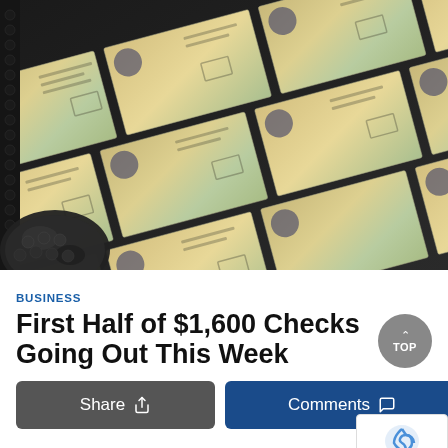[Figure (photo): Overhead close-up photo of US Treasury stimulus checks arranged in diagonal rows on a printing sheet, with perforated edges visible on the left side, against a dark background.]
BUSINESS
First Half of $1,600 Checks Going Out This Week